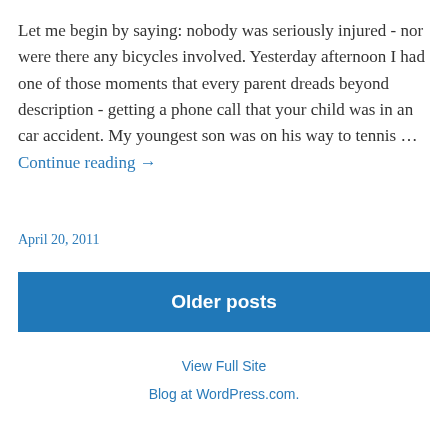Let me begin by saying: nobody was seriously injured - nor were there any bicycles involved. Yesterday afternoon I had one of those moments that every parent dreads beyond description - getting a phone call that your child was in an car accident. My youngest son was on his way to tennis … Continue reading →
April 20, 2011
Older posts
View Full Site
Blog at WordPress.com.